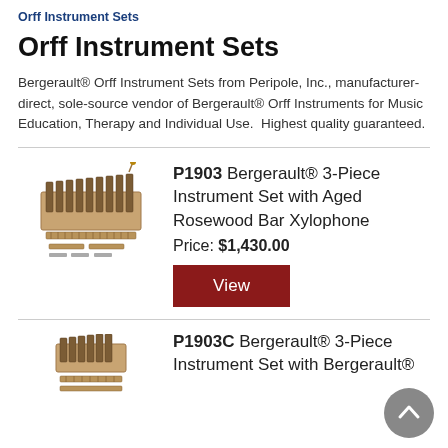Orff Instrument Sets
Orff Instrument Sets
Bergerault® Orff Instrument Sets from Peripole, Inc., manufacturer-direct, sole-source vendor of Bergerault® Orff Instruments for Music Education, Therapy and Individual Use.  Highest quality guaranteed.
[Figure (photo): Photo of Bergerault 3-piece Orff instrument set with aged rosewood bar xylophone and accessories]
P1903 Bergerault® 3-Piece Instrument Set with Aged Rosewood Bar Xylophone
Price: $1,430.00
[Figure (photo): Photo of second Bergerault instrument set P1903C, partial view]
P1903C Bergerault® 3-Piece Instrument Set with Bergerault®